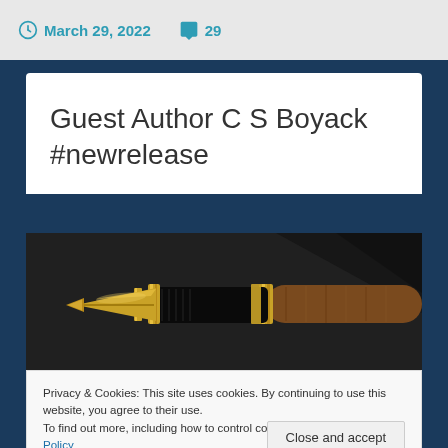March 29, 2022   29
Guest Author C S Boyack #newrelease
[Figure (photo): Close-up photo of a fountain pen with gold nib and wooden barrel on dark background]
Privacy & Cookies: This site uses cookies. By continuing to use this website, you agree to their use.
To find out more, including how to control cookies, see here: Cookie Policy